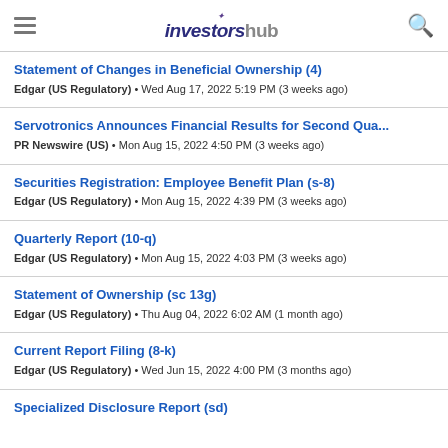investorshub
Statement of Changes in Beneficial Ownership (4)
Edgar (US Regulatory) • Wed Aug 17, 2022 5:19 PM (3 weeks ago)
Servotronics Announces Financial Results for Second Qua...
PR Newswire (US) • Mon Aug 15, 2022 4:50 PM (3 weeks ago)
Securities Registration: Employee Benefit Plan (s-8)
Edgar (US Regulatory) • Mon Aug 15, 2022 4:39 PM (3 weeks ago)
Quarterly Report (10-q)
Edgar (US Regulatory) • Mon Aug 15, 2022 4:03 PM (3 weeks ago)
Statement of Ownership (sc 13g)
Edgar (US Regulatory) • Thu Aug 04, 2022 6:02 AM (1 month ago)
Current Report Filing (8-k)
Edgar (US Regulatory) • Wed Jun 15, 2022 4:00 PM (3 months ago)
Specialized Disclosure Report (sd)